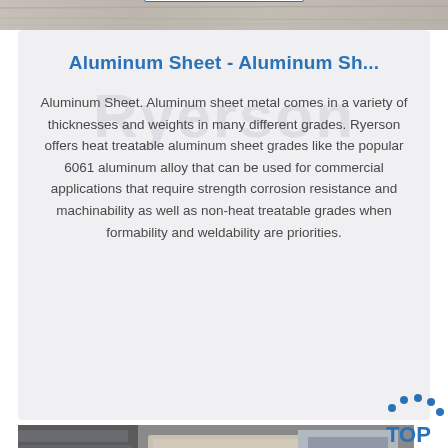[Figure (photo): Top portion of a wooden surface / light gray photo strip at the top of the page]
Aluminum Sheet - Aluminum Sh...
Aluminum Sheet. Aluminum sheet metal comes in a variety of thicknesses and weights in many different grades. Ryerson offers heat treatable aluminum sheet grades like the popular 6061 aluminum alloy that can be used for commercial applications that require strength corrosion resistance and machinability as well as non-heat treatable grades when formability and weldability are priorities.
Get Price
[Figure (photo): Bottom photo showing stacked aluminum sheets and metal materials]